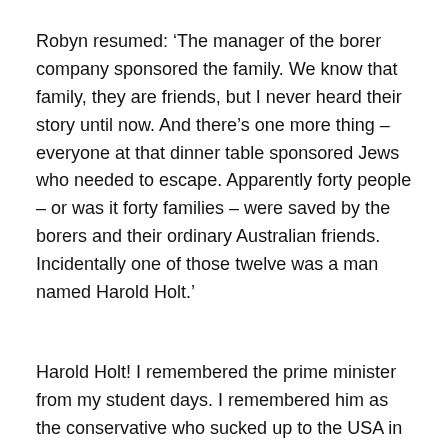Robyn resumed: ‘The manager of the borer company sponsored the family. We know that family, they are friends, but I never heard their story until now. And there’s one more thing – everyone at that dinner table sponsored Jews who needed to escape. Apparently forty people – or was it forty families – were saved by the borers and their ordinary Australian friends. Incidentally one of those twelve was a man named Harold Holt.’
Harold Holt! I remembered the prime minister from my student days. I remembered him as the conservative who sucked up to the USA in Vietnam. ‘All the way with LBJ’, was his catchcry. Harold Holt giving succour to asylum